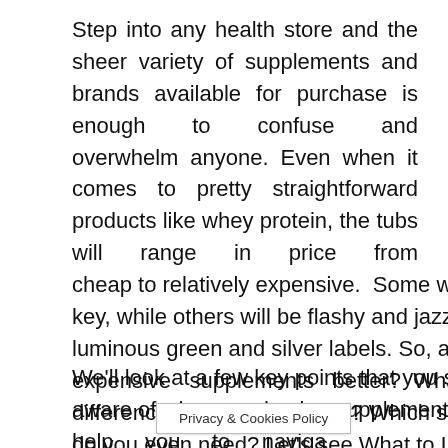Step into any health store and the sheer variety of supplements and brands available for purchase is enough to confuse and overwhelm anyone. Even when it comes to pretty straightforward products like whey protein, the tubs will range in price from cheap to relatively expensive.  Some will look low key, while others will be flashy and jazzed up with luminous green and silver labels. So, are the more expensive supplements better? What's the difference in quality all about? Which supplements do you even need? Let's see What to Look Out for When Buying Supplements.
We'll look at a few key points that you should be aware of when purchasing supplements. This will help you to naviga... nd flashy
Privacy & Cookies Policy